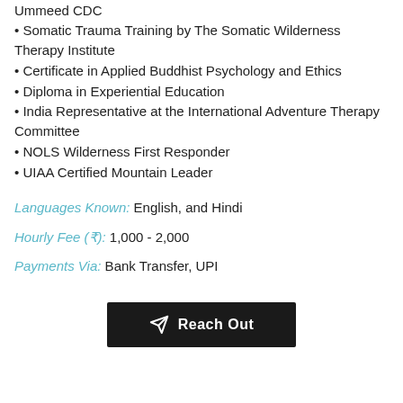Ummeed CDC
• Somatic Trauma Training by The Somatic Wilderness Therapy Institute
• Certificate in Applied Buddhist Psychology and Ethics
• Diploma in Experiential Education
• India Representative at the International Adventure Therapy Committee
• NOLS Wilderness First Responder
• UIAA Certified Mountain Leader
Languages Known: English, and Hindi
Hourly Fee (₹): 1,000 - 2,000
Payments Via: Bank Transfer, UPI